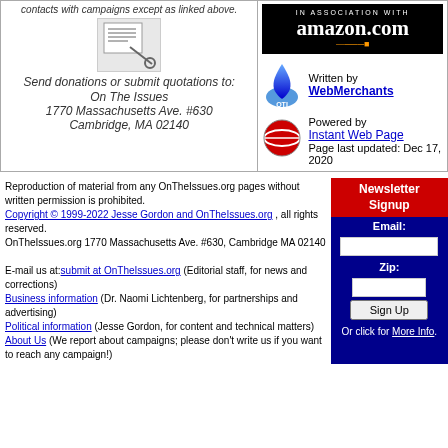contacts with campaigns except as linked above.
Send donations or submit quotations to:
On The Issues
1770 Massachusetts Ave. #630
Cambridge, MA 02140
[Figure (logo): Amazon.com In Association With logo - black background with amazon.com text and orange smile]
Written by
WebMerchants
[Figure (logo): On The Issues (OTI) logo - blue flame icon]
Powered by
Instant Web Page
Page last updated: Dec 17, 2020
Reproduction of material from any OnTheIssues.org pages without written permission is prohibited.
Copyright © 1999-2022 Jesse Gordon and OnTheIssues.org , all rights reserved.
OnTheIssues.org 1770 Massachusetts Ave. #630, Cambridge MA 02140
E-mail us at:submit at OnTheIssues.org (Editorial staff, for news and corrections)
Business information (Dr. Naomi Lichtenberg, for partnerships and advertising)
Political information (Jesse Gordon, for content and technical matters)
About Us (We report about campaigns; please don't write us if you want to reach any campaign!)
Newsletter Signup
Email:
Zip:
Sign Up
Or click for More Info.